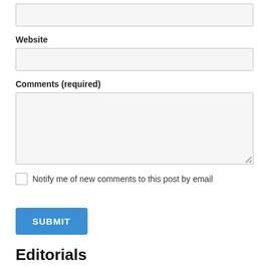[input field - top, unlabeled]
Website
Comments (required)
Notify me of new comments to this post by email
SUBMIT
Editorials
Here you can find the Round Up's collection of editorial pieces and press releases where we will discuss the latest trends and ideas in